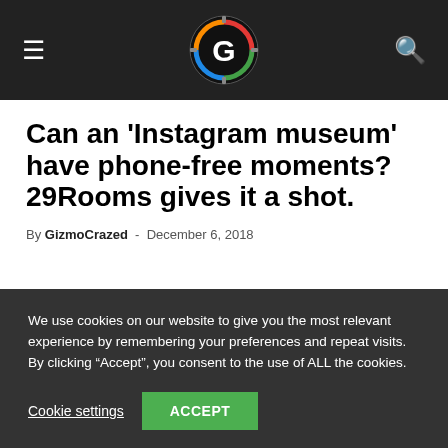GizmoCrazed navigation bar with hamburger menu, logo, and search icon
Can an &#039;Instagram museum&#039; have phone-free moments? 29Rooms gives it a shot.
By GizmoCrazed - December 6, 2018
We use cookies on our website to give you the most relevant experience by remembering your preferences and repeat visits. By clicking “Accept”, you consent to the use of ALL the cookies.
Cookie settings   ACCEPT